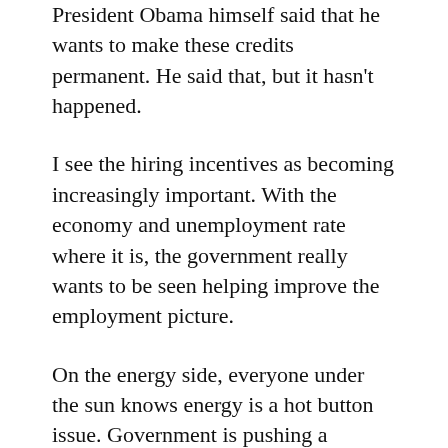President Obama himself said that he wants to make these credits permanent. He said that, but it hasn't happened.
I see the hiring incentives as becoming increasingly important. With the economy and unemployment rate where it is, the government really wants to be seen helping improve the employment picture.
On the energy side, everyone under the sun knows energy is a hot button issue. Government is pushing a number of mandates about renewable energy, federal and state incentives are being talked about at various levels. We truly feel that energy will be at the top of the chart of things that we are going